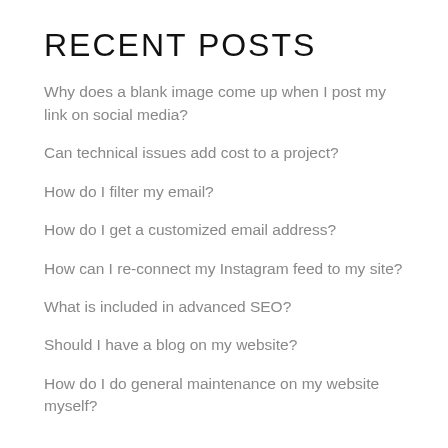RECENT POSTS
Why does a blank image come up when I post my link on social media?
Can technical issues add cost to a project?
How do I filter my email?
How do I get a customized email address?
How can I re-connect my Instagram feed to my site?
What is included in advanced SEO?
Should I have a blog on my website?
How do I do general maintenance on my website myself?